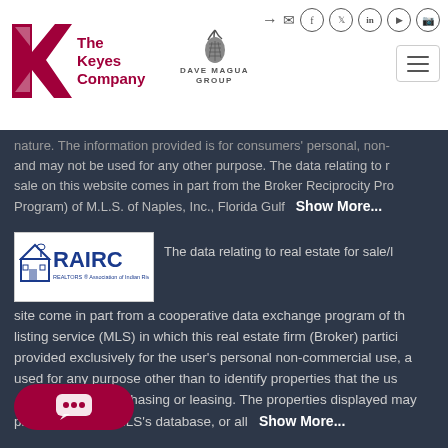[Figure (logo): The Keyes Company logo with red K and text]
[Figure (logo): Dave Magua Group logo with pineapple icon]
Social icons: login, email, facebook, twitter, linkedin, youtube, instagram
nature. The information provided is for consumers' personal, non-commercial use and may not be used for any other purpose. The data relating to real estate for sale on this website comes in part from the Broker Reciprocity Program (IDX Program) of M.L.S. of Naples, Inc., Florida Gulf Show More...
[Figure (logo): RAIRC - REALTORS Association of Indian River County, Inc. logo]
The data relating to real estate for sale/lease on this site come in part from a cooperative data exchange program of the multiple listing service (MLS) in which this real estate firm (Broker) participates, is provided exclusively for the user's personal non-commercial use, and may not be used for any purpose other than to identify properties that the user may be interested in purchasing or leasing. The properties displayed may Show More...
[Figure (other): Chat widget button with speech bubble icon]